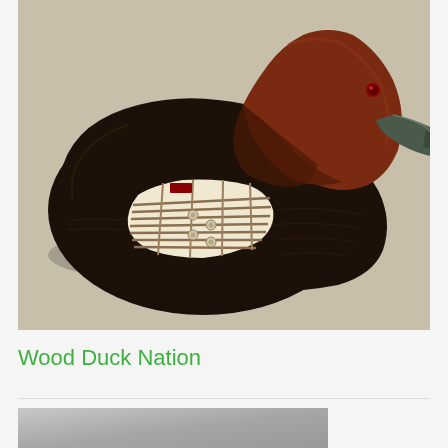[Figure (photo): A carved wooden duck decoy (canvasback style) with a dark brown/black body and reddish-brown head with a small red eye and grey bill. The duck has an inlaid decorative patch on its side showing horizontal striped pattern in cream and brown tones with small circular details. The decoy sits on a light beige/tan background.]
Wood Duck Nation
[Figure (photo): Partial view of a second image, appears to be a grey-toned photograph, only partially visible at the bottom of the page.]